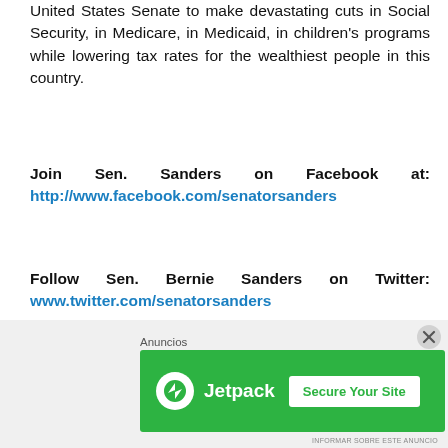United States Senate to make devastating cuts in Social Security, in Medicare, in Medicaid, in children's programs while lowering tax rates for the wealthiest people in this country.
Join Sen. Sanders on Facebook at: http://www.facebook.com/senatorsanders
Follow Sen. Bernie Sanders on Twitter: www.twitter.com/senatorsanders
Sanders es el único senador estadounidense que se declara abiertamente como un socialista, siendo apoyado en su última campaña electoral por partidos progresistas y
Anuncios
[Figure (other): Jetpack advertisement banner with green background showing Jetpack logo and 'Secure Your Site' button]